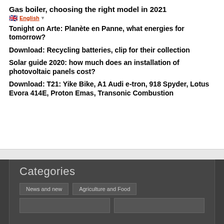Gas boiler, choosing the right model in 2021
Tonight on Arte: Planète en Panne, what energies for tomorrow?
Download: Recycling batteries, clip for their collection
Solar guide 2020: how much does an installation of photovoltaic panels cost?
Download: T21: Yike Bike, A1 Audi e-tron, 918 Spyder, Lotus Evora 414E, Proton Emas, Transonic Combustion
Categories
News and new   Agriculture and Food